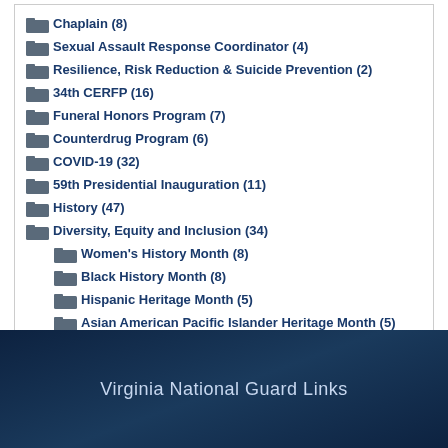Chaplain (8)
Sexual Assault Response Coordinator (4)
Resilience, Risk Reduction & Suicide Prevention (2)
34th CERFP (16)
Funeral Honors Program (7)
Counterdrug Program (6)
COVID-19 (32)
59th Presidential Inauguration (11)
History (47)
Diversity, Equity and Inclusion (34)
Women's History Month (8)
Black History Month (8)
Hispanic Heritage Month (5)
Asian American Pacific Islander Heritage Month (5)
LGBTQ+ Pride Month (6)
Virginia National Guard Links